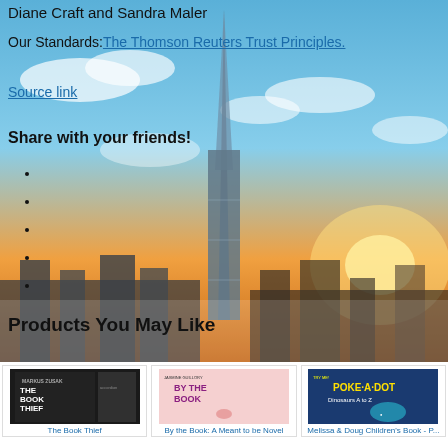Diane Craft and Sandra Maler
Our Standards: The Thomson Reuters Trust Principles.
Source link
Share with your friends!
Products You May Like
[Figure (photo): Background photo of a tall skyscraper spire against a dramatic orange and blue sky with clouds]
[Figure (photo): Book cover: The Book Thief by Markus Zusak]
The Book Thief
$6.99  $14.99  ✓prime
[Figure (photo): Book cover: By the Book: A Meant to be Novel by Jasmine Guillory]
By the Book: A Meant to be Novel
$9.99
[Figure (photo): Book cover: Poke-A-Dot Dinosaurs A to Z - Melissa & Doug Children's Book]
Melissa & Doug Children's Book - P...
$12.34  ✓prime